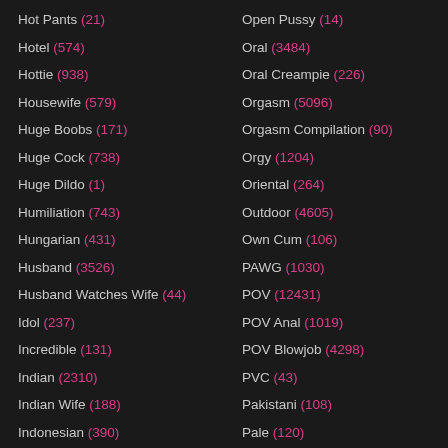Hot Pants (21)
Hotel (574)
Hottie (938)
Housewife (579)
Huge Boobs (171)
Huge Cock (738)
Huge Dildo (1)
Humiliation (743)
Hungarian (431)
Husband (3526)
Husband Watches Wife (44)
Idol (237)
Incredible (131)
Indian (2310)
Indian Wife (188)
Indonesian (390)
Open Pussy (14)
Oral (3484)
Oral Creampie (226)
Orgasm (5096)
Orgasm Compilation (90)
Orgy (1204)
Oriental (264)
Outdoor (4605)
Own Cum (106)
PAWG (1030)
POV (12431)
POV Anal (1019)
POV Blowjob (4298)
PVC (43)
Pakistani (108)
Pale (120)